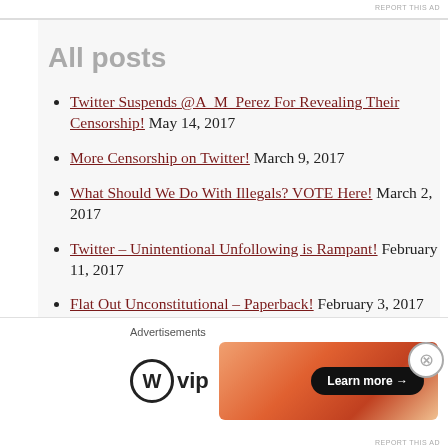REPORT THIS AD
All posts
Twitter Suspends @A_M_Perez For Revealing Their Censorship! May 14, 2017
More Censorship on Twitter! March 9, 2017
What Should We Do With Illegals? VOTE Here! March 2, 2017
Twitter – Unintentional Unfollowing is Rampant! February 11, 2017
Flat Out Unconstitutional – Paperback! February 3, 2017
Trump Trumped Obama! January 26, 2017
Muslim Slashes Ohio State Students – Left Blames Guns! November 29, 2016
Advertisements
REPORT THIS AD